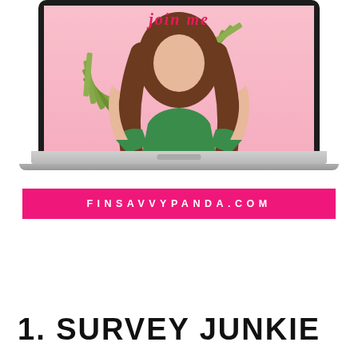[Figure (illustration): Laptop computer showing a woman holding fans of cash money on a pink background, with the text 'join me' in red cursive at the top of the screen]
FINSAVVYPANDA.COM
1. SURVEY JUNKIE